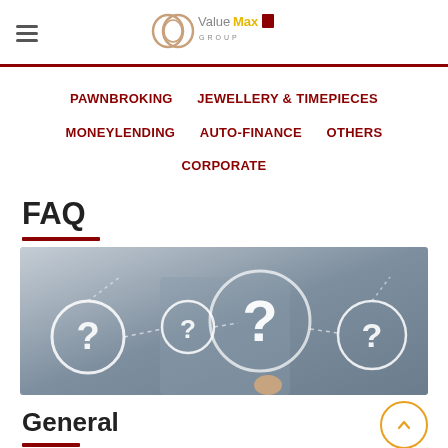ValueMax Group
PAWNBROKING  JEWELLERY & TIMEPIECES  MONEYLENDING  AUTO-FINANCE  OTHERS  CORPORATE
FAQ
[Figure (photo): A person holding a glowing question mark surrounded by circular question mark icons on a grey background, representing FAQ concept.]
General